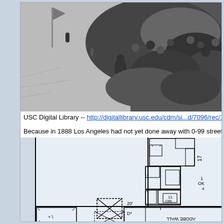[Figure (photo): Black and white historical photograph showing a crowd of people, appears to be from late 1800s Los Angeles]
USC Digital Library -- http://digitallibrary.usc.edu/cdm/si...d/7096/rec/154
Because in 1888 Los Angeles had not yet done away with 0-99 street a...
[Figure (map): Sanborn-style fire insurance map showing building footprints and lot layouts in Los Angeles, 1888. Shows adobe wall notation and building dimensions.]